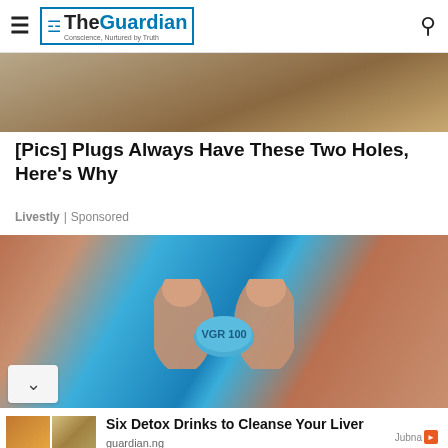The Guardian — Conscience, Nurtured by Truth
[Figure (photo): Partial top image of an article about plugs]
[Pics] Plugs Always Have These Two Holes, Here's Why
Livestly | Sponsored
[Figure (photo): Close-up photo of two fingers holding a blue VGR 100 pill/tablet]
[Figure (photo): Four-panel collage of detox drinks and herbs]
Six Detox Drinks to Cleanse Your Liver
guardian.ng
Jubna